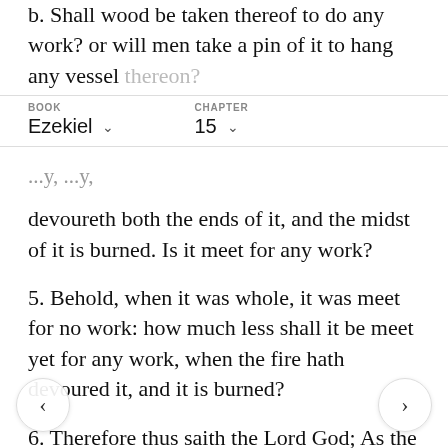b. Shall wood be taken thereof to do any work? or will men take a pin of it to hang any vessel thereon?
BOOK: Ezekiel   CHAPTER: 15
devoureth both the ends of it, and the midst of it is burned. Is it meet for any work?
5. Behold, when it was whole, it was meet for no work: how much less shall it be meet yet for any work, when the fire hath devoured it, and it is burned?
6. Therefore thus saith the Lord God; As the vine tree among the trees of the forest, which I have given to the fire for fuel, so will I give the